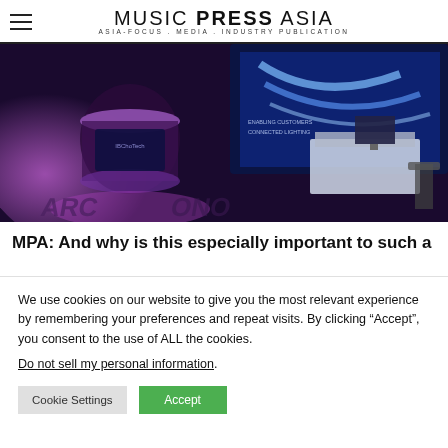MUSIC PRESS ASIA — ASIA-FOCUS . MEDIA . INDUSTRY PUBLICATION
[Figure (photo): Interior of a technology/music showroom with purple lighting, a cylindrical display kiosk, large video wall screens showing blue light trails, and a white demonstration desk with monitors. Text on the floor reads partially visible letters.]
MPA: And why is this especially important to such a
We use cookies on our website to give you the most relevant experience by remembering your preferences and repeat visits. By clicking “Accept”, you consent to the use of ALL the cookies.
Do not sell my personal information.
Cookie Settings | Accept